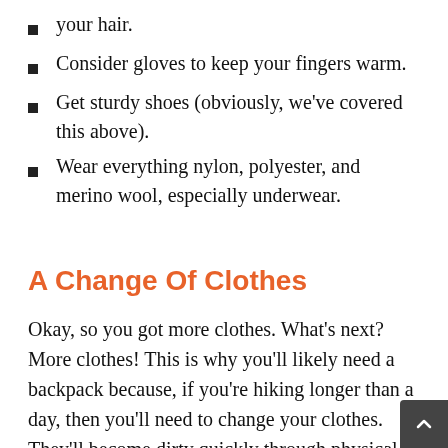your hair.
Consider gloves to keep your fingers warm.
Get sturdy shoes (obviously, we've covered this above).
Wear everything nylon, polyester, and merino wool, especially underwear.
A Change Of Clothes
Okay, so you got more clothes. What's next? More clothes! This is why you'll likely need a backpack because, if you're hiking longer than a day, then you'll need to change your clothes. They'll become dirty quickly through physical activity. If you're only out there for a day, with nobody else, you can get away with a change of underwear and socks. There's